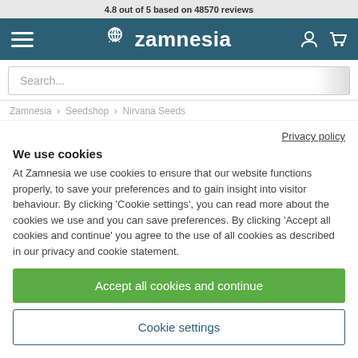4.8 out of 5 based on 48570 reviews
[Figure (logo): Zamnesia navigation bar with hamburger menu, logo, user and cart icons on teal background]
Search...
Zamnesia  Seedshop  Nirvana Seeds
Privacy policy
We use cookies
At Zamnesia we use cookies to ensure that our website functions properly, to save your preferences and to gain insight into visitor behaviour. By clicking 'Cookie settings', you can read more about the cookies we use and you can save preferences. By clicking 'Accept all cookies and continue' you agree to the use of all cookies as described in our privacy and cookie statement.
Accept all cookies and continue
Cookie settings